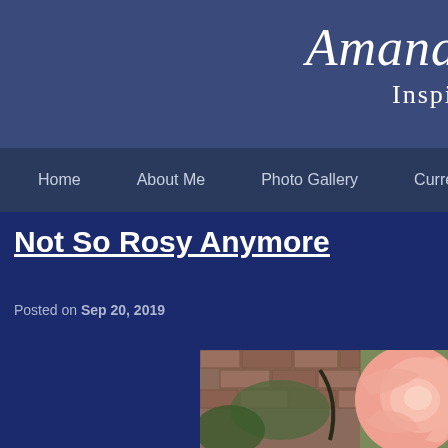Amanda... Inspi...
Home | About Me | Photo Gallery | Current W...
Not So Rosy Anymore
Posted on Sep 20, 2019
[Figure (photo): Close-up photo of a pink rose with green foliage and brick wall in background]